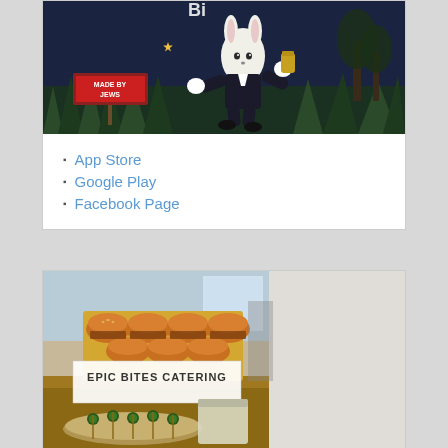[Figure (illustration): Animated game illustration with a cartoon character in a dark blue/midnight scene with a 'Made by Jews' sign, foliage, and spooky atmosphere]
App Store
Google Play
Facebook Page
[Figure (photo): Catering food photo showing sliders/burgers on a tray with an 'EPIC BITES CATERING' overlay text and appetizers on a platter in the foreground]